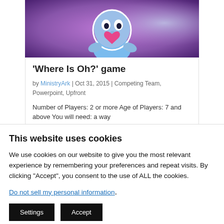[Figure (illustration): Animated cartoon character (blue alien/creature) holding a pink heart, set against a purple gradient background]
'Where Is Oh?' game
by MinistryArk | Oct 31, 2015 | Competing Team, Powerpoint, Upfront
Number of Players: 2 or more Age of Players: 7 and above You will need: a way
This website uses cookies
We use cookies on our website to give you the most relevant experience by remembering your preferences and repeat visits. By clicking "Accept", you consent to the use of ALL the cookies.
Do not sell my personal information.
Settings
Accept